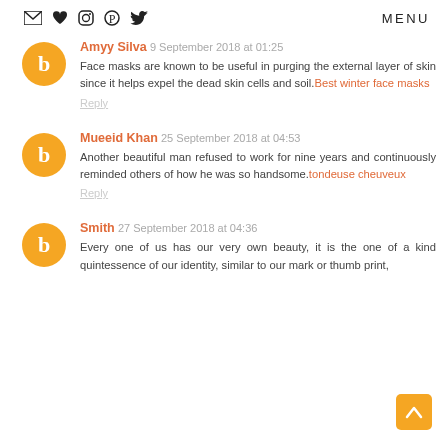MENU
Amyy Silva 9 September 2018 at 01:25
Face masks are known to be useful in purging the external layer of skin since it helps expel the dead skin cells and soil. Best winter face masks
Reply
Mueeid Khan 25 September 2018 at 04:53
Another beautiful man refused to work for nine years and continuously reminded others of how he was so handsome. tondeuse cheuveux
Reply
Smith 27 September 2018 at 04:36
Every one of us has our very own beauty, it is the one of a kind quintessence of our identity, similar to our mark or thumb print,